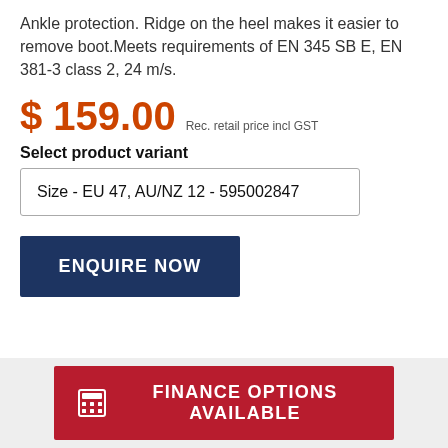Ankle protection. Ridge on the heel makes it easier to remove boot.Meets requirements of EN 345 SB E, EN 381-3 class 2, 24 m/s.
$ 159.00  Rec. retail price incl GST
Select product variant
Size - EU 47, AU/NZ 12 - 595002847
ENQUIRE NOW
FINANCE OPTIONS AVAILABLE